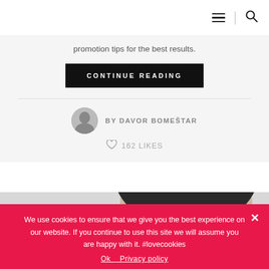Navigation header with hamburger menu and search icon
promotion tips for the best results.
CONTINUE READING
BY DAVOR BOMEŠTAR
162 LIKES
[Figure (photo): Partial photo of a man's face and upper body on a light grey background]
We use cookies to ensure that we give you the best experience on our website. If you continue to use this site we will assume you are happy with it. #lovecookies
Ok   Privacy policy